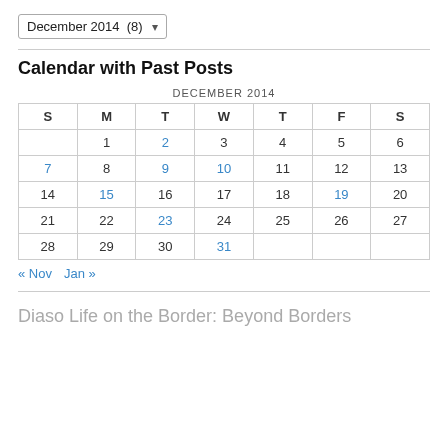December 2014  (8)
Calendar with Past Posts
| S | M | T | W | T | F | S |
| --- | --- | --- | --- | --- | --- | --- |
|  | 1 | 2 | 3 | 4 | 5 | 6 |
| 7 | 8 | 9 | 10 | 11 | 12 | 13 |
| 14 | 15 | 16 | 17 | 18 | 19 | 20 |
| 21 | 22 | 23 | 24 | 25 | 26 | 27 |
| 28 | 29 | 30 | 31 |  |  |  |
« Nov   Jan »
Diaso Life on the Border: Beyond Borders